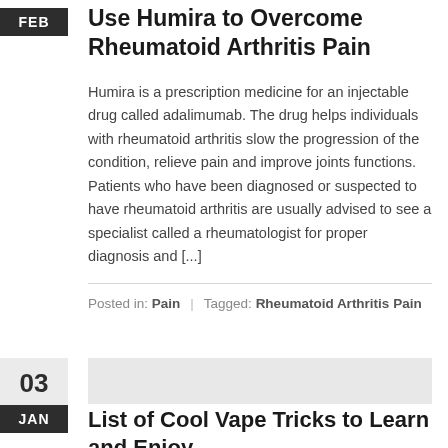Use Humira to Overcome Rheumatoid Arthritis Pain
Humira is a prescription medicine for an injectable drug called adalimumab. The drug helps individuals with rheumatoid arthritis slow the progression of the condition, relieve pain and improve joints functions. Patients who have been diagnosed or suspected to have rheumatoid arthritis are usually advised to see a specialist called a rheumatologist for proper diagnosis and [...]
Posted in: Pain | Tagged: Rheumatoid Arthritis Pain
List of Cool Vape Tricks to Learn and Enjoy